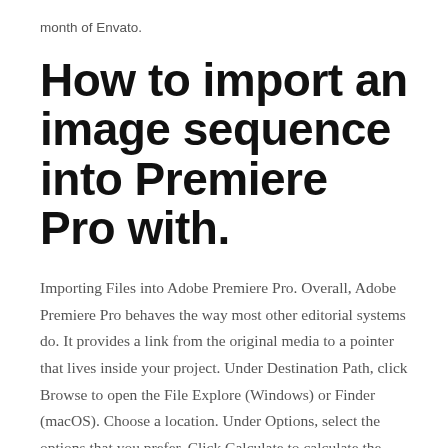month of Envato.
How to import an image sequence into Premiere Pro with.
Importing Files into Adobe Premiere Pro. Overall, Adobe Premiere Pro behaves the way most other editorial systems do. It provides a link from the original media to a pointer that lives inside your project. Under Destination Path, click Browse to open the File Explore (Windows) or Finder (macOS). Choose a location. Under Options, select the options that you prefer. Click Calculate to calculate the disk space that the copied file occupies. When you have selected your preferences, click Run to